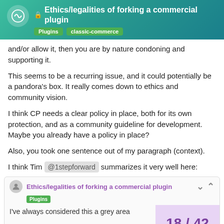Ethics/legalities of forking a commercial plugin | Plugins  classic-commerce
and/or allow it, then you are by nature condoning and supporting it.
This seems to be a recurring issue, and it could potentially be a pandora's box. It really comes down to ethics and community vision.
I think CP needs a clear policy in place, both for its own protection, and as a community guideline for development. Maybe you already have a policy in place?
Also, you took one sentence out of my paragraph (context).
I think Tim @1stepforward summarizes it very well here:
Ethics/legalities of forking a commercial plugin | Plugins | I've always considered this a grey area avoided. Forking a premium plugin seem — 18 / 42